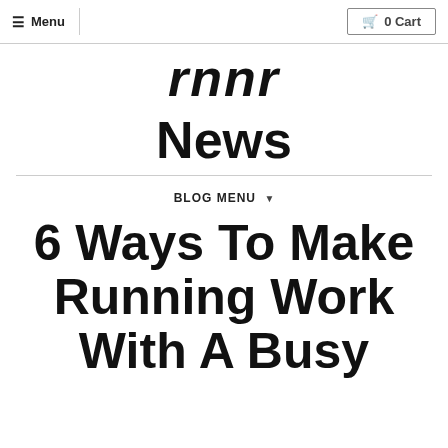≡ Menu   🛒 0 Cart
rnnr
News
BLOG MENU ▾
6 Ways To Make Running Work With A Busy